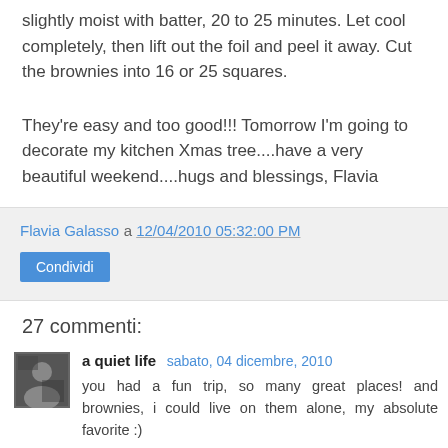slightly moist with batter, 20 to 25 minutes. Let cool completely, then lift out the foil and peel it away. Cut the brownies into 16 or 25 squares.
They're easy and too good!!! Tomorrow I'm going to decorate my kitchen Xmas tree....have a very beautiful weekend....hugs and blessings, Flavia
Flavia Galasso a 12/04/2010 05:32:00 PM
Condividi
27 commenti:
a quiet life  sabato, 04 dicembre, 2010
you had a fun trip, so many great places! and brownies, i could live on them alone, my absolute favorite :)
Rispondi